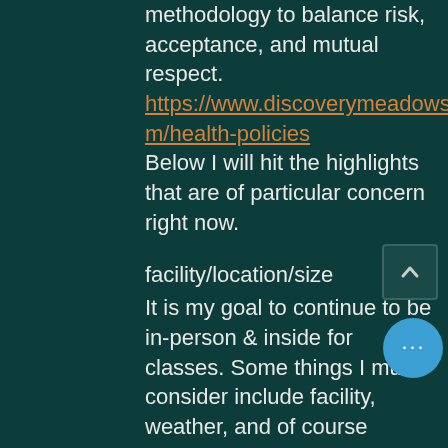methodology to balance risk, acceptance, and mutual respect. https://www.discoverymeadowstudio.com/health-policies Below I will hit the highlights that are of particular concern right now.
facility/location/size
It is my goal to continue to be in-person & inside for classes. Some things I must consider include facility, weather, and of course health& safety conditions.  The facility still has the final say on rules.  Classes will stay in small groups of 6 families for NewBraunfels and 4-5 families for Cibolo for now.  When the weather allows we'll do things out as well.  If there is spread in the classroom with my family or even just